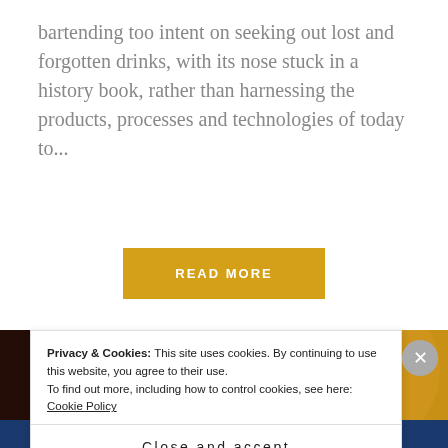bartending too intent on seeking out lost and forgotten drinks, with its nose stuck in a history book, rather than harnessing the products, processes and technologies of today to...
READ MORE
[Figure (photo): Close-up photo of a bartender's hands holding a silver cocktail shaker, wearing a yellow garment, dark background.]
Privacy & Cookies: This site uses cookies. By continuing to use this website, you agree to their use.
To find out more, including how to control cookies, see here: Cookie Policy
Close and accept
TUMBLR AD-FREE BROWSING or $4.99 a month